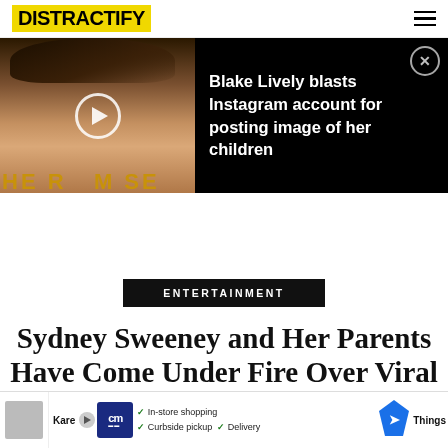DISTRACTIFY
[Figure (photo): Promotional banner showing Blake Lively at a movie premiere with gold text in background, and a play button overlay]
Blake Lively blasts Instagram account for posting image of her children
ENTERTAINMENT
Sydney Sweeney and Her Parents Have Come Under Fire Over Viral Phot...
[Figure (screenshot): Advertisement banner with CM logo, showing In-store shopping, Curbside pickup, and Delivery options with a map navigation icon]